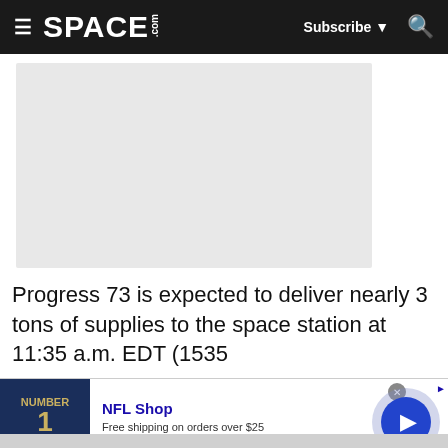SPACE.com — Subscribe — Search
[Figure (photo): Placeholder image area (grey rectangle) for a space-related photo]
Progress 73 is expected to deliver nearly 3 tons of supplies to the space station at 11:35 a.m. EDT (1535
[Figure (other): NFL Shop advertisement banner with jersey image, text: NFL Shop, Free shipping on orders over $25, www.nflshop.com, and a play button]